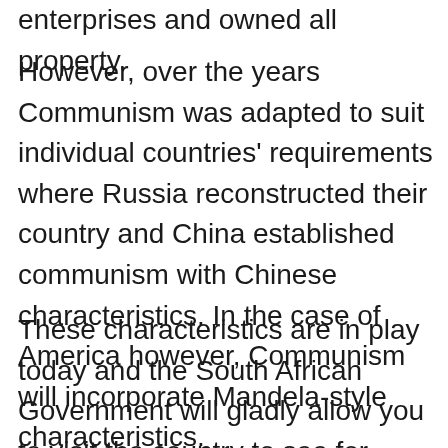enterprises and owned all property.
However, over the years Communism was adapted to suit individual countries' requirements where Russia reconstructed their country and China established communism with Chinese characteristics. In the case of America however, Communism will incorporate Mandela-style characteristics.
These characteristics are in play today and the South African Government will gladly allow you to visit the country to see for yourself. Its President even offered to help